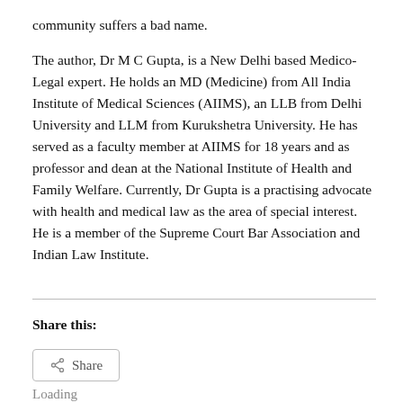community suffers a bad name.
The author, Dr M C Gupta, is a New Delhi based Medico-Legal expert. He holds an MD (Medicine) from All India Institute of Medical Sciences (AIIMS), an LLB from Delhi University and LLM from Kurukshetra University. He has served as a faculty member at AIIMS for 18 years and as professor and dean at the National Institute of Health and Family Welfare. Currently, Dr Gupta is a practising advocate with health and medical law as the area of special interest. He is a member of the Supreme Court Bar Association and Indian Law Institute.
Share this:
Share
Loading